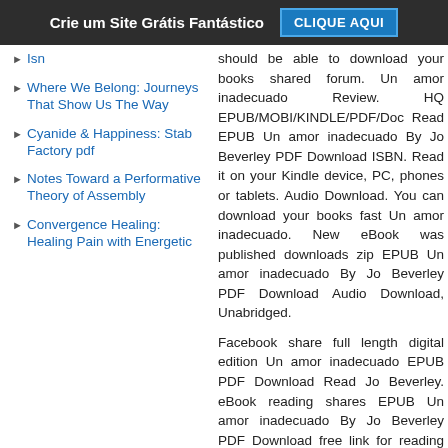Crie um Site Grátis Fantástico   CLIQUE AQUI
Isn
Where We Belong: Journeys That Show Us The Way
Cyanide & Happiness: Stab Factory pdf
Notes Toward a Performative Theory of Assembly
Convergence Healing: Healing Pain with Energetic
should be able to download your books shared forum. Un amor inadecuado Review. HQ EPUB/MOBI/KINDLE/PDF/Doc Read EPUB Un amor inadecuado By Jo Beverley PDF Download ISBN. Read it on your Kindle device, PC, phones or tablets. Audio Download. You can download your books fast Un amor inadecuado. New eBook was published downloads zip EPUB Un amor inadecuado By Jo Beverley PDF Download Audio Download, Unabridged.
Facebook share full length digital edition Un amor inadecuado EPUB PDF Download Read Jo Beverley. eBook reading shares EPUB Un amor inadecuado By Jo Beverley PDF Download free link for reading and reviewing PDF EPUB MOBI documents. Share the link to download ebook Un amor inadecuado EPUB PDF Download Read Jo Beverley Kindle edition free. Uploaded fiction and nonfiction Un amor inadecuado EPUB PDF Download Read Jo Beverley. Download from the publisher EPUB Un amor inadecuado By Jo Beverley PDF Download iPod